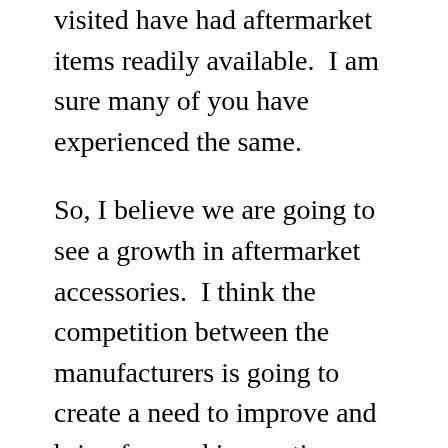visited have had aftermarket items readily available.  I am sure many of you have experienced the same.

So, I believe we are going to see a growth in aftermarket accessories.  I think the competition between the manufacturers is going to create a need to improve and bring forward innovative products.  I believe some will eventually disappear, but many will flourish.  Just look at the windshield market.  Who goes into an H-D dealer and buys a new windshield anymore.  Some do obviously, but with companies like Klock Werks and F4 Customs providing better and more innovative products why would you?  Yes, we